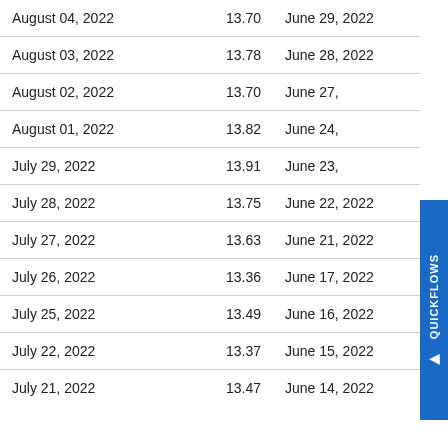| Date | Value | Date2 |
| --- | --- | --- |
| August 04, 2022 | 13.70 | June 29, 2022 |
| August 03, 2022 | 13.78 | June 28, 2022 |
| August 02, 2022 | 13.70 | June 27, |
| August 01, 2022 | 13.82 | June 24, |
| July 29, 2022 | 13.91 | June 23, |
| July 28, 2022 | 13.75 | June 22, 2022 |
| July 27, 2022 | 13.63 | June 21, 2022 |
| July 26, 2022 | 13.36 | June 17, 2022 |
| July 25, 2022 | 13.49 | June 16, 2022 |
| July 22, 2022 | 13.37 | June 15, 2022 |
| July 21, 2022 | 13.47 | June 14, 2022 |